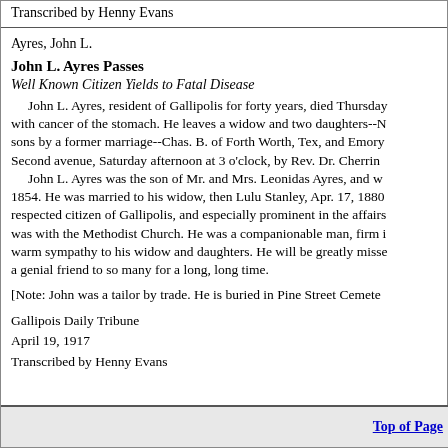Transcribed by Henny Evans
Ayres, John L.
John L. Ayres Passes
Well Known Citizen Yields to Fatal Disease
John L. Ayres, resident of Gallipolis for forty years, died Thursday with cancer of the stomach. He leaves a widow and two daughters--N sons by a former marriage--Chas. B. of Forth Worth, Tex, and Emory Second avenue, Saturday afternoon at 3 o'clock, by Rev. Dr. Cherrin John L. Ayres was the son of Mr. and Mrs. Leonidas Ayres, and w 1854. He was married to his widow, then Lulu Stanley, Apr. 17, 1880 respected citizen of Gallipolis, and especially prominent in the affairs was with the Methodist Church. He was a companionable man, firm i warm sympathy to his widow and daughters. He will be greatly misse a genial friend to so many for a long, long time.
[Note: John was a tailor by trade. He is buried in Pine Street Cemete
Gallipois Daily Tribune
April 19, 1917
Transcribed by Henny Evans
Top of Page